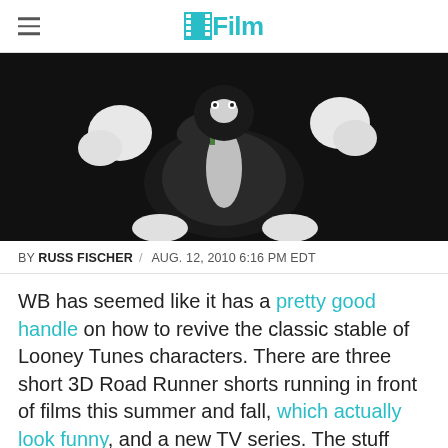/Film
[Figure (photo): Looney Tunes character (Pepe Le Pew or similar black and white cartoon character) holding a red flower, posed against a black background]
BY RUSS FISCHER / AUG. 12, 2010 6:16 PM EDT
WB has seemed like it has a pretty good handle on how to revive the classic stable of Looney Tunes characters. There are three short 3D Road Runner shorts running in front of films this summer and fall, which actually look funny, and a new TV series. The stuff doesn't look amazing, but it also doesn't look tragic. Given that these characters will inevitably be revived no matter what we hope for, 'not tragic' is a